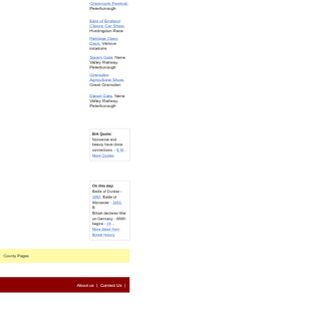Grassroots Festival, Peterborough
East of England Classic Car Show, Huntingdon Racecourse
Heritage Open Days, Various locations
Steam Gala, Nene Valley Railway, Peterborough
Gransden Agricultural Show, Great Gransden
Diesel Gala, Nene Valley Railway, Peterborough
Brit Quote: Nonsense and beauty have close connections. - E M... More Quotes
On this day: Battle of Dunbar - 1650, Battle of Worcester - 1651, Britain declares War on Germany - WWII begins - 19... More dates from British history
County Pages
About us | Contact Us |